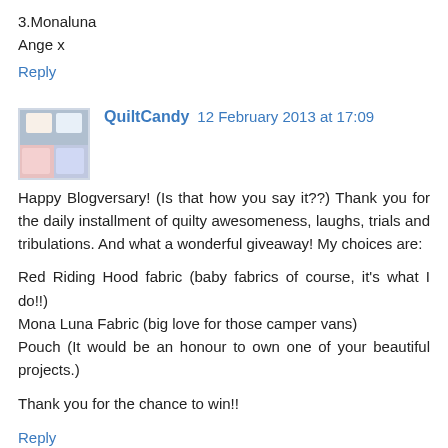3.Monaluna
Ange x
Reply
QuiltCandy 12 February 2013 at 17:09
Happy Blogversary! (Is that how you say it??) Thank you for the daily installment of quilty awesomeness, laughs, trials and tribulations. And what a wonderful giveaway! My choices are:

Red Riding Hood fabric (baby fabrics of course, it's what I do!!)
Mona Luna Fabric (big love for those camper vans)
Pouch (It would be an honour to own one of your beautiful projects.)

Thank you for the chance to win!!
Reply